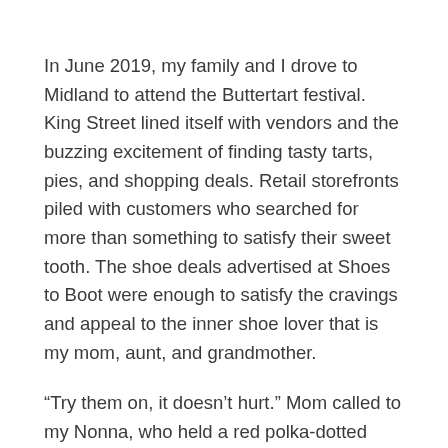In June 2019, my family and I drove to Midland to attend the Buttertart festival. King Street lined itself with vendors and the buzzing excitement of finding tasty tarts, pies, and shopping deals. Retail storefronts piled with customers who searched for more than something to satisfy their sweet tooth. The shoe deals advertised at Shoes to Boot were enough to satisfy the cravings and appeal to the inner shoe lover that is my mom, aunt, and grandmother.
“Try them on, it doesn’t hurt.” Mom called to my Nonna, who held a red polka-dotted heel in her hand like a prize.
“It’s beautiful,” Nonna’s broken English extended the vowels of her excitement. She circled the sandal in her hands and examined